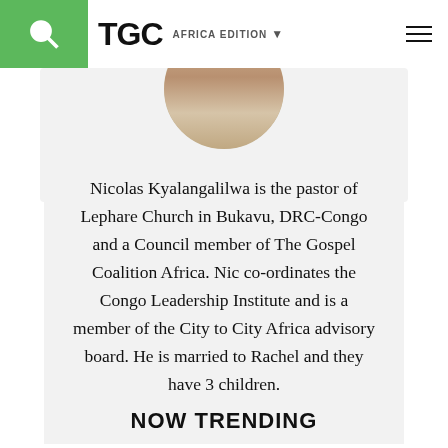TGC AFRICA EDITION
[Figure (photo): Circular profile photo of Nicolas Kyalangalilwa, partially cropped at top]
Nicolas Kyalangalilwa is the pastor of Lephare Church in Bukavu, DRC-Congo and a Council member of The Gospel Coalition Africa. Nic co-ordinates the Congo Leadership Institute and is a member of the City to City Africa advisory board. He is married to Rachel and they have 3 children.
NOW TRENDING